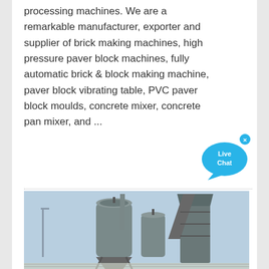processing machines. We are a remarkable manufacturer, exporter and supplier of brick making machines, high pressure paver block machines, fully automatic brick & block making machine, paver block vibrating table, PVC paver block moulds, concrete mixer, concrete pan mixer, and ...
[Figure (other): Live Chat button — blue speech bubble with 'Live Chat' text and a small X close button]
[Figure (photo): Outdoor photograph of industrial machinery — large cylindrical silos and a tall elevator/conveyor structure against a pale blue sky, with a fence in the background.]